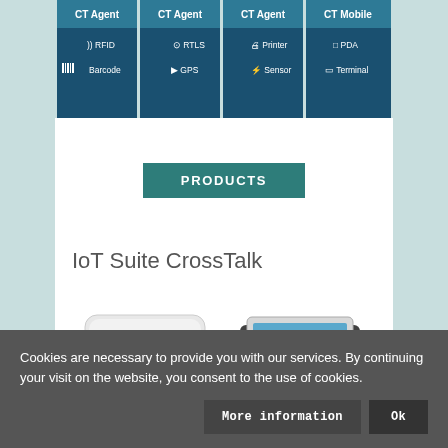[Figure (screenshot): Navigation grid with CT Agent and CT Mobile columns showing RFID, Barcode, RTLS, GPS, Printer, Sensor, PDA, Terminal icons]
PRODUCTS
IoT Suite CrossTalk
[Figure (photo): Two IoT hardware devices: a white flat panel/access point on the left and a barcode scanner/printer device on the right]
Cookies are necessary to provide you with our services. By continuing your visit on the website, you consent to the use of cookies.
More information
Ok